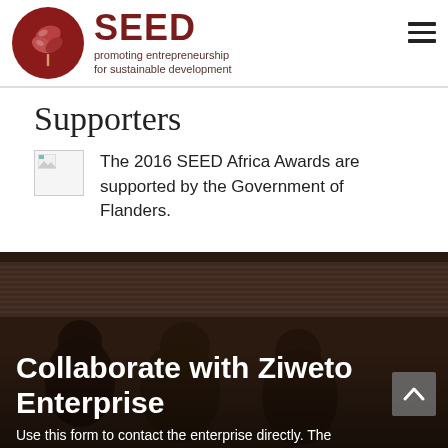SEED promoting entrepreneurship for sustainable development
Supporters
[Figure (logo): Broken image placeholder icon]
The 2016 SEED Africa Awards are supported by the Government of Flanders.
[Figure (photo): Dark background photo of people near a corrugated metal roof building]
Collaborate with Ziweto Enterprise
Use this form to contact the enterprise directly. The